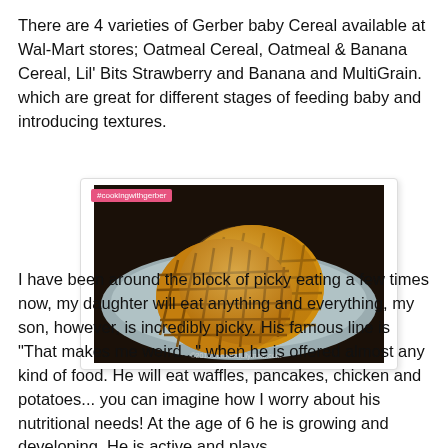There are 4 varieties of Gerber baby Cereal available at Wal-Mart stores; Oatmeal Cereal, Oatmeal & Banana Cereal, Lil' Bits Strawberry and Banana and MultiGrain. which are great for different stages of feeding baby and introducing textures.
[Figure (photo): Photo of two golden-brown waffles on a grey plate against a dark background, with a pink '#cookingwithgerber' hashtag label in the top left corner and a small watermark in the bottom right.]
I have been around the block of picky eating a few times now, my daughter will eat anything and everything, my son, however, is incredibly picky. His famous line is "That makes me weird..." when he is offered almost any kind of food. He will eat waffles, pancakes, chicken and potatoes... you can imagine how I worry about his nutritional needs! At the age of 6 he is growing and developing. He is active and plays